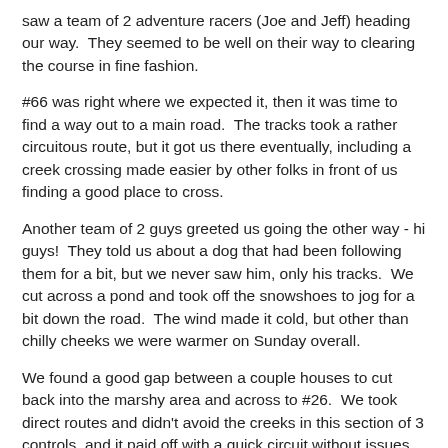saw a team of 2 adventure racers (Joe and Jeff) heading our way.  They seemed to be well on their way to clearing the course in fine fashion.
#66 was right where we expected it, then it was time to find a way out to a main road.  The tracks took a rather circuitous route, but it got us there eventually, including a creek crossing made easier by other folks in front of us finding a good place to cross.
Another team of 2 guys greeted us going the other way - hi guys!  They told us about a dog that had been following them for a bit, but we never saw him, only his tracks.  We cut across a pond and took off the snowshoes to jog for a bit down the road.  The wind made it cold, but other than chilly cheeks we were warmer on Sunday overall.
We found a good gap between a couple houses to cut back into the marshy area and across to #26.  We took direct routes and didn't avoid the creeks in this section of 3 controls, and it paid off with a quick circuit without issues.  Especially since the prior tracks were coming in our